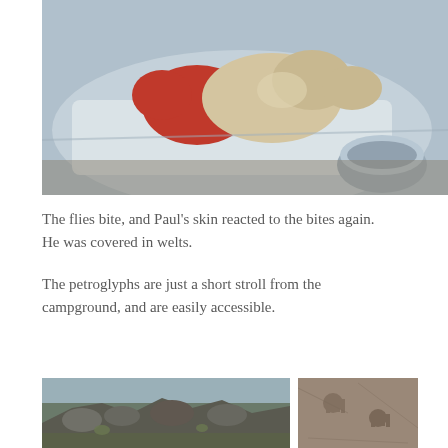[Figure (photo): Person in red jacket cuddling with a fluffy dog inside a tent, with a metal bowl visible in the lower right corner outside the tent]
The flies bite, and Paul's skin reacted to the bites again. He was covered in welts.
The petroglyphs are just a short stroll from the campground, and are easily accessible.
[Figure (photo): Rocky hillside with boulders and sparse vegetation]
[Figure (photo): Close-up of petroglyphs carved into rock surface showing hand-like figures]